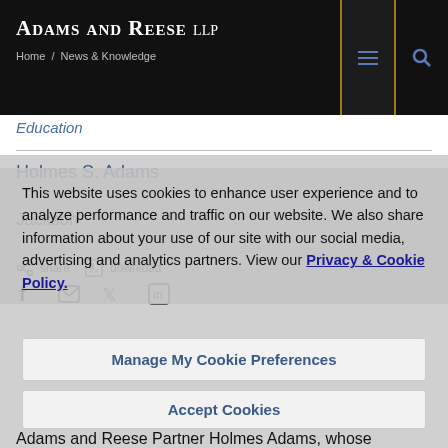Adams and Reese LLP | Home / News & Knowledge
Education
Holmes S. Adams
Jackson
share   download
This website uses cookies to enhance user experience and to analyze performance and traffic on our website. We also share information about your use of our site with our social media, advertising and analytics partners. View our Privacy & Cookie Policy.
Manage My Cookie Preferences
Accept Cookies
Adams and Reese Partner Holmes Adams, whose